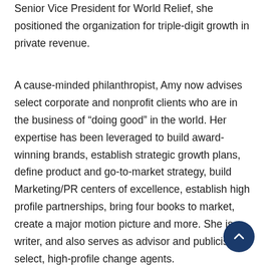Senior Vice President for World Relief, she positioned the organization for triple-digit growth in private revenue.
A cause-minded philanthropist, Amy now advises select corporate and nonprofit clients who are in the business of “doing good” in the world. Her expertise has been leveraged to build award-winning brands, establish strategic growth plans, define product and go-to-market strategy, build Marketing/PR centers of excellence, establish high profile partnerships, bring four books to market, create a major motion picture and more. She is a writer, and also serves as advisor and publicist for select, high-profile change agents.